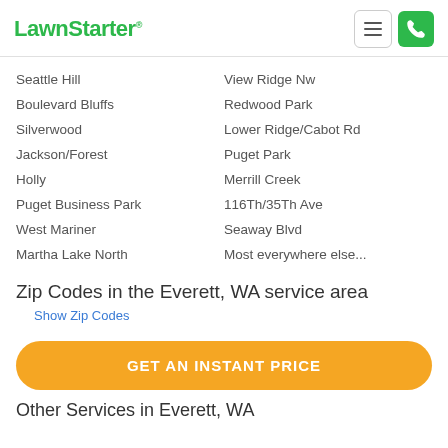LawnStarter
Seattle Hill
View Ridge Nw
Boulevard Bluffs
Redwood Park
Silverwood
Lower Ridge/Cabot Rd
Jackson/Forest
Puget Park
Holly
Merrill Creek
Puget Business Park
116Th/35Th Ave
West Mariner
Seaway Blvd
Martha Lake North
Most everywhere else...
Zip Codes in the Everett, WA service area
Show Zip Codes
GET AN INSTANT PRICE
Other Services in Everett, WA